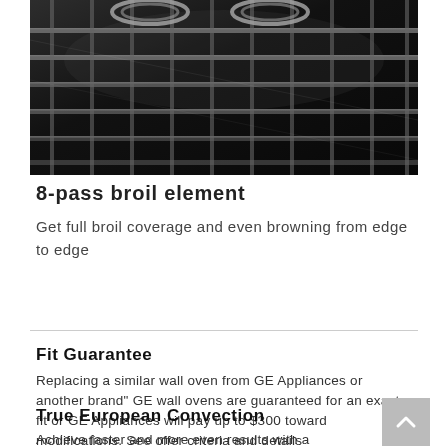[Figure (photo): Close-up black and white photo of an oven broil element/rack grid from inside an oven]
8-pass broil element
Get full broil coverage and even browning from edge to edge
Fit Guarantee
Replacing a similar wall oven from GE Appliances or another brand" GE wall ovens are guaranteed for an exact fit or GE Appliances will pay up to $300 toward modifications. See offer criteria and details
True European Convection
Achieve faster and more even results with a convection fan and third heating element that